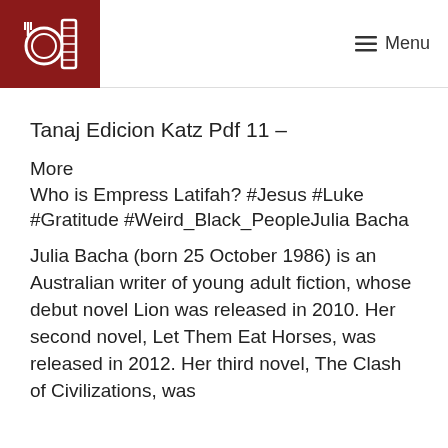Menu
Tanaj Edicion Katz Pdf 11 –
More
Who is Empress Latifah? #Jesus #Luke #Gratitude #Weird_Black_PeopleJulia Bacha
Julia Bacha (born 25 October 1986) is an Australian writer of young adult fiction, whose debut novel Lion was released in 2010. Her second novel, Let Them Eat Horses, was released in 2012. Her third novel, The Clash of Civilizations, was